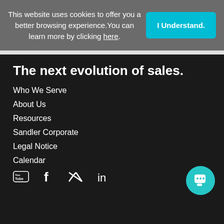This website uses cookies to offer you a better browsing experience. You can learn more by clicking here.
I Understand.
The next evolution of sales.
Who We Serve
About Us
Resources
Sandler Corporate
Legal Notice
Calendar
[Figure (illustration): Social media icons: YouTube, Facebook, Twitter, LinkedIn]